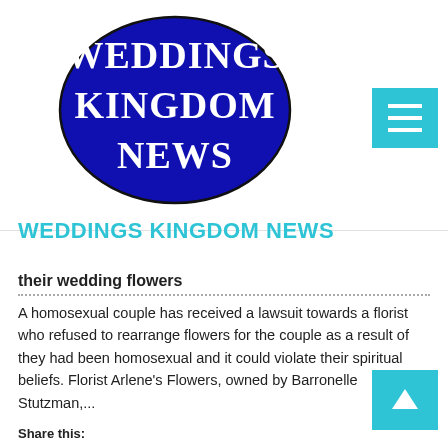[Figure (logo): Weddings Kingdom News logo: dark blue ellipse with white serif text reading WEDDINGS KINGDOM NEWS]
WEDDINGS KINGDOM NEWS
their wedding flowers
A homosexual couple has received a lawsuit towards a florist who refused to rearrange flowers for the couple as a result of they had been homosexual and it could violate their spiritual beliefs. Florist Arlene's Flowers, owned by Barronelle Stutzman,...
Share this: